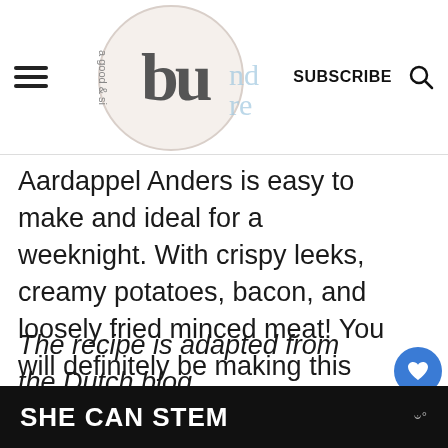SUBSCRIBE
Aardappel Anders is easy to make and ideal for a weeknight. With crispy leeks, creamy potatoes, bacon, and loosely fried minced meat! You will definitely be making this more often!
The recipe is adapted from the Dutch blog Elisabethsmagazine.
[Figure (screenshot): What's Next card showing 'High tea deluxe...' with a circular food thumbnail]
[Figure (logo): SHE CAN STEM advertisement banner in dark background]
SHE CAN STEM